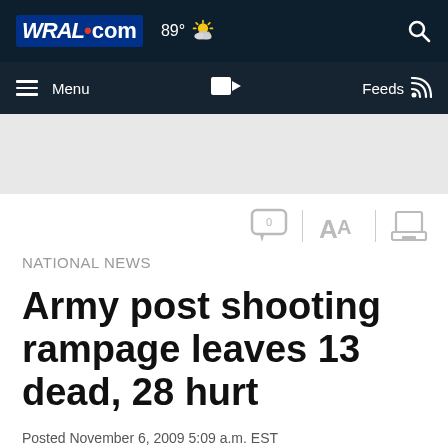[Figure (screenshot): WRAL.com website top navigation bar with logo, temperature 89°, partly cloudy weather icon, and search icon]
[Figure (screenshot): Secondary navigation bar with hamburger Menu, video camera icon, Feeds and RSS icon]
[Figure (screenshot): Gray advertisement banner area]
[Figure (screenshot): Article toolbar icons: comment bubble with 0, AA font size, and print icon]
NATIONAL NEWS
Army post shooting rampage leaves 13 dead, 28 hurt
Posted November 6, 2009 5:09 a.m. EST